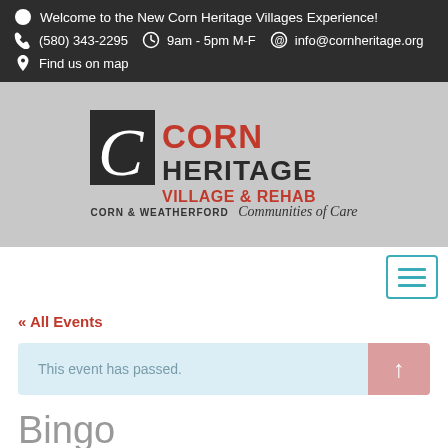Welcome to the New Corn Heritage Villages Experience!
(580) 343-2295   9am - 5pm M-F   info@cornheritage.org
Find us on map
[Figure (logo): Corn Heritage Village & Rehab logo with tagline: Corn & Weatherford Communities of Care]
[Figure (other): Hamburger menu button with teal/cyan border and three horizontal lines]
« All Events
This event has passed.
Bingo